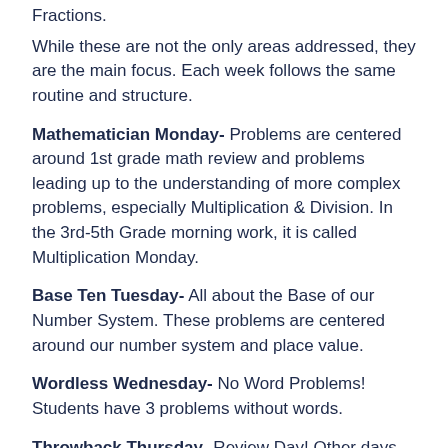Fractions.
While these are not the only areas addressed, they are the main focus. Each week follows the same routine and structure.
Mathematician Monday- Problems are centered around 1st grade math review and problems leading up to the understanding of more complex problems, especially Multiplication & Division. In the 3rd-5th Grade morning work, it is called Multiplication Monday.
Base Ten Tuesday- All about the Base of our Number System. These problems are centered around our number system and place value.
Wordless Wednesday- No Word Problems! Students have 3 problems without words.
Throwback Thursday- Review Day! Other days may offer a review problem, but Thursdays have problems that may